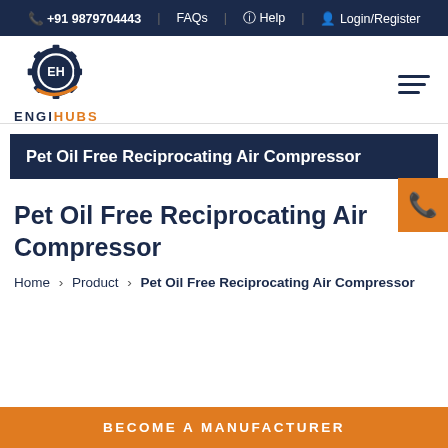+91 9879704443 | FAQs | Help | Login/Register
[Figure (logo): EngiHubs gear logo with EH monogram and orange swoosh]
Pet Oil Free Reciprocating Air Compressor
Pet Oil Free Reciprocating Air Compressor
Home › Product › Pet Oil Free Reciprocating Air Compressor
BECOME A MANUFACTURER